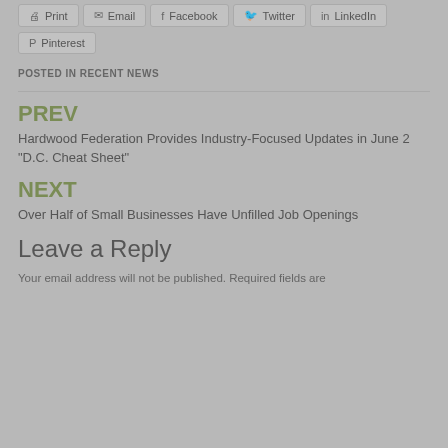Print | Email | Facebook | Twitter | LinkedIn | Pinterest
POSTED IN RECENT NEWS
PREV
Hardwood Federation Provides Industry-Focused Updates in June 2 “D.C. Cheat Sheet”
NEXT
Over Half of Small Businesses Have Unfilled Job Openings
Leave a Reply
Your email address will not be published. Required fields are